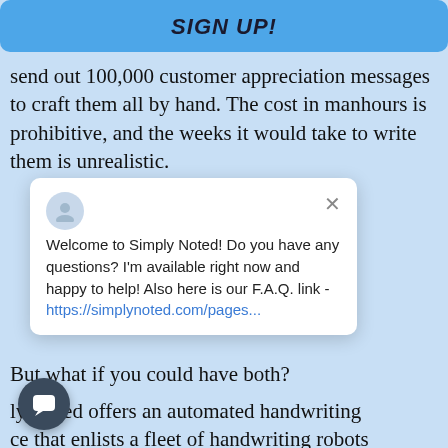SIGN UP!
send out 100,000 customer appreciation messages to craft them all by hand. The cost in manhours is prohibitive, and the weeks it would take to write them is unrealistic.
amatically faster to then have 100,000 he business might issives is far ns using a standard
[Figure (screenshot): Chat popup widget from Simply Noted showing a welcome message: 'Welcome to Simply Noted! Do you have any questions? I'm available right now and happy to help! Also here is our F.A.Q. link - https://simplynoted.com/pages...' with a close X button and a user avatar icon.]
But what if you could have both?
ly Noted offers an automated handwriting ce that enlists a fleet of handwriting robots